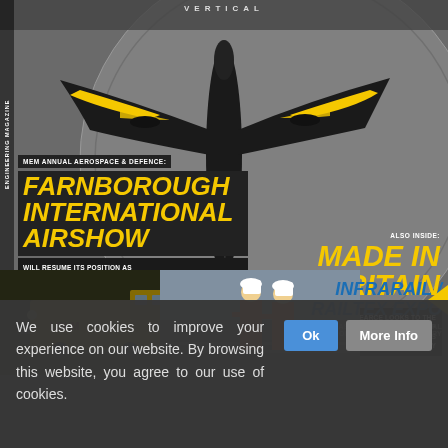[Figure (photo): Aerial top-down view of a large aircraft (dark body with yellow wing markings) on a circular apron or runway area, viewed from directly above. The aircraft has a distinctive bird-like silhouette.]
VERTICAL
ENGINEERING MAGAZINE
ISSUE 900
MEM ANNUAL AEROSPACE & DEFENCE: FARNBOROUGH INTERNATIONAL AIRSHOW
WILL RESUME ITS POSITION AS THE PINNACLE AEROSPACE AND AVIATION EVENT IN THE INDUSTRY
ALSO INSIDE:
MADE IN BRITAIN
CEO JOHN PEARCE LOOKS TO THE FUTURE AS THE MEMBERSHIP ORGANISATION CELEBRATES ITS 10TH ANNIVERSARY
[Figure (photo): Yellow and black rail maintenance vehicle (LOHM) on railway tracks in a dark outdoor setting.]
[Figure (photo): Two workers in orange hi-vis vests and white hard hats standing near railway infrastructure.]
INFRARAIL / RAILTEX EXPO
SHOWCASED THE FULL POTENTIAL OF THE RAILWAY INDUSTRY
We use cookies to improve your experience on our website. By browsing this website, you agree to our use of cookies.
Ok
More Info